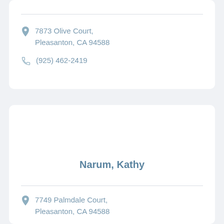7873 Olive Court, Pleasanton, CA 94588
(925) 462-2419
Narum, Kathy
7749 Palmdale Court, Pleasanton, CA 94588